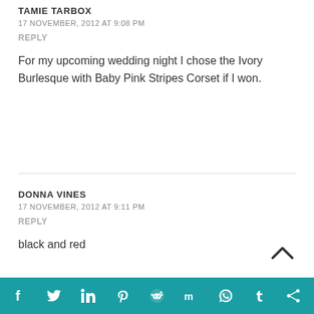TAMIE TARBOX
17 NOVEMBER, 2012 AT 9:08 PM
REPLY
For my upcoming wedding night I chose the Ivory Burlesque with Baby Pink Stripes Corset if I won.
DONNA VINES
17 NOVEMBER, 2012 AT 9:11 PM
REPLY
black and red
[Figure (other): Social sharing bar with icons for Facebook, Twitter, LinkedIn, Pinterest, Reddit, Mix, WhatsApp, Tumblr, and share]